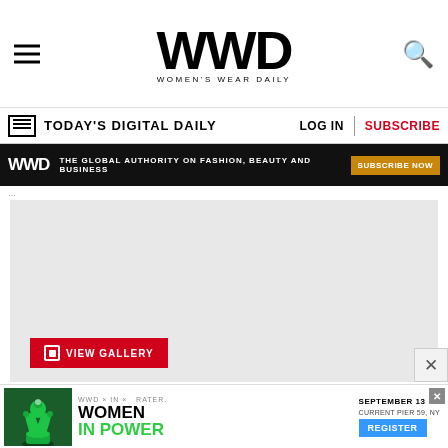WWD — Women's Wear Daily
TODAY'S DIGITAL DAILY | LOG IN | SUBSCRIBE
[Figure (screenshot): WWD ad banner: THE GLOBAL AUTHORITY ON FASHION, BEAUTY AND BUSINESS | SUBSCRIBE NOW]
[Figure (photo): Large empty placeholder image area with VIEW GALLERY button]
[Figure (infographic): Bottom ad banner: WWD x IN x additional — WOMEN IN POWER — SEPTEMBER 13, CURRENT PIER 59, NY — REGISTER button]